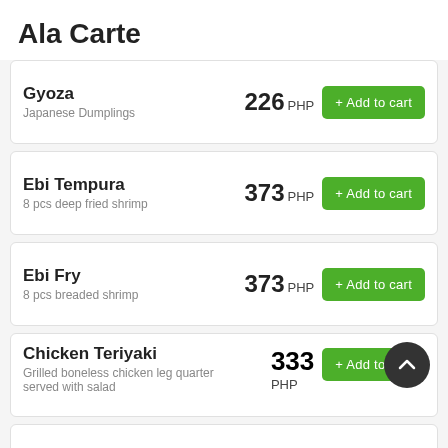Ala Carte
Gyoza | Japanese Dumplings | 226 PHP
Ebi Tempura | 8 pcs deep fried shrimp | 373 PHP
Ebi Fry | 8 pcs breaded shrimp | 373 PHP
Chicken Teriyaki | Grilled boneless chicken leg quarter served with salad | 333 PHP
Pork Tonkatsu | Breaded pork chop cutlet | 333 PHP